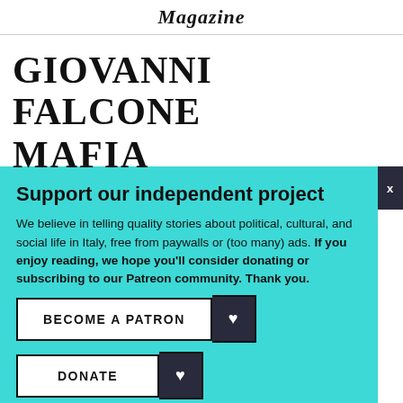Magazine
GIOVANNI FALCONE MAFIA
Support our independent project
We believe in telling quality stories about political, cultural, and social life in Italy, free from paywalls or (too many) ads. If you enjoy reading, we hope you'll consider donating or subscribing to our Patreon community. Thank you.
BECOME A PATRON
DONATE
Follow us: Facebook Instagram Twitter